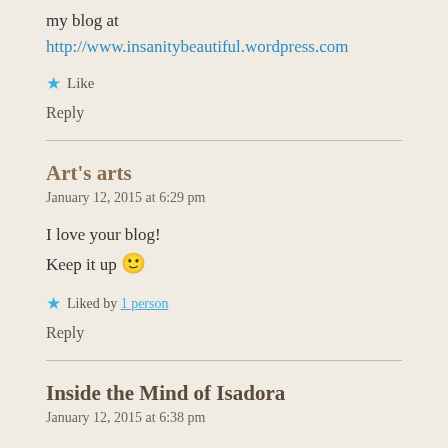my blog at http://www.insanitybeautiful.wordpress.com
★ Like
Reply
Art's arts
January 12, 2015 at 6:29 pm
I love your blog!
Keep it up 🙂
★ Liked by 1 person
Reply
Inside the Mind of Isadora
January 12, 2015 at 6:38 pm
I've been at it for 3 years. I don't think I'll give it up as I